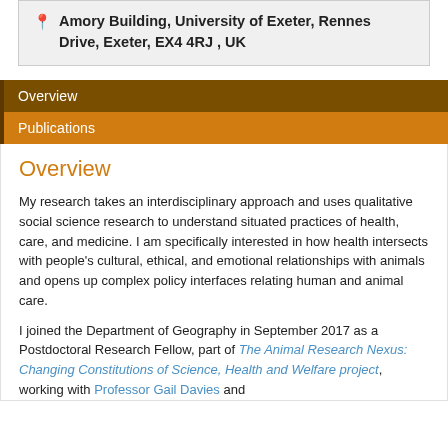Amory Building, University of Exeter, Rennes Drive, Exeter, EX4 4RJ , UK
Overview
Publications
Overview
My research takes an interdisciplinary approach and uses qualitative social science research to understand situated practices of health, care, and medicine. I am specifically interested in how health intersects with people's cultural, ethical, and emotional relationships with animals and opens up complex policy interfaces relating human and animal care.
I joined the Department of Geography in September 2017 as a Postdoctoral Research Fellow, part of The Animal Research Nexus: Changing Constitutions of Science, Health and Welfare project, working with Professor Gail Davies and